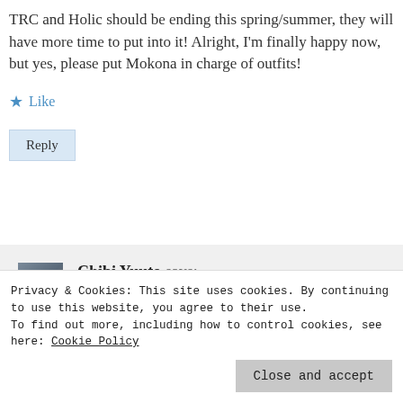TRC and Holic should be ending this spring/summer, they will have more time to put into it! Alright, I'm finally happy now, but yes, please put Mokona in charge of outfits!
★ Like
Reply
Chibi Yuuto says:
Privacy & Cookies: This site uses cookies. By continuing to use this website, you agree to their use. To find out more, including how to control cookies, see here: Cookie Policy
Close and accept